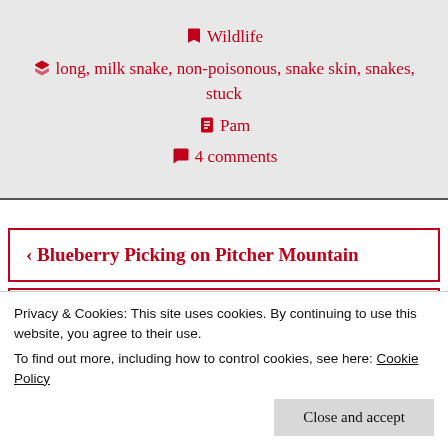Wildlife
long, milk snake, non-poisonous, snake skin, snakes, stuck
Pam
4 comments
‹ Blueberry Picking on Pitcher Mountain
Getting Rid of The Dead Wood ›
Privacy & Cookies: This site uses cookies. By continuing to use this website, you agree to their use.
To find out more, including how to control cookies, see here: Cookie Policy